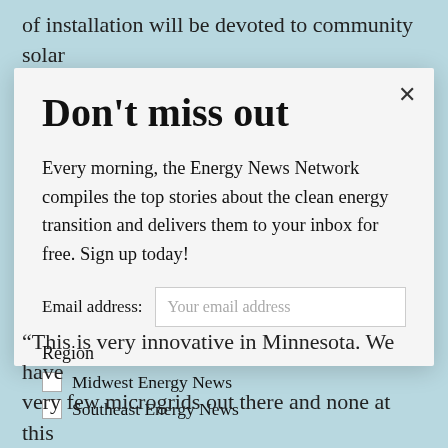of installation will be devoted to community solar for low-income residents. And the microgrids
[Figure (screenshot): Modal popup overlay with title 'Don't miss out', body text about Energy News Network newsletter, email address input field, region checkboxes for Midwest Energy News and Southeast Energy News, and a close button (×).]
“This is very innovative in Minnesota. We have very few microgrids out there and none at this